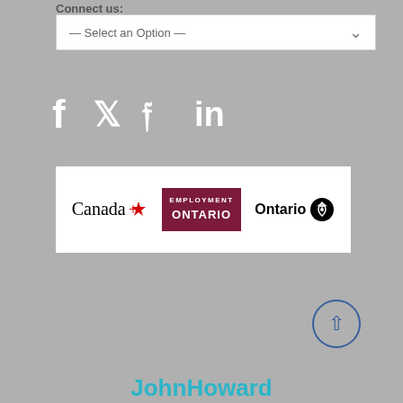Connect us:
— Select an Option —
[Figure (illustration): Social media icons: Facebook, Twitter, LinkedIn]
[Figure (logo): Logos for Canada, Employment Ontario, and Ontario government]
[Figure (illustration): Scroll to top button with upward arrow]
JohnHoward